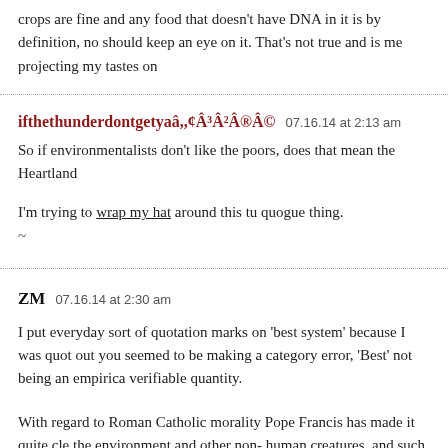crops are fine and any food that doesn't have DNA in it is by definition, no should keep an eye on it. That's not true and is me projecting my tastes on
ifthethunderdontgetyaâ,,¢Â³Â²Â®Â©   07.16.14 at 2:13 am
So if environmentalists don't like the poors, does that mean the Heartland
I'm trying to wrap my hat around this tu quogue thing.
~
ZM   07.16.14 at 2:30 am
I put everyday sort of quotation marks on 'best system' because I was quot out you seemed to be making a category error, 'Best' not being an emprica verifiable quantity.
With regard to Roman Catholic morality Pope Francis has made it quite cle the environment and other non- human creatures, and such thoughts go ba Catholic tradition indeed.